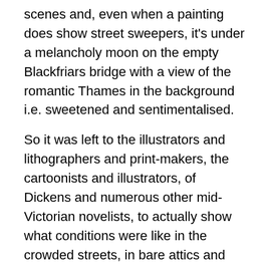scenes and, even when a painting does show street sweepers, it's under a melancholy moon on the empty Blackfriars bridge with a view of the romantic Thames in the background i.e. sweetened and sentimentalised.
So it was left to the illustrators and lithographers and print-makers, the cartoonists and illustrators, of Dickens and numerous other mid-Victorian novelists, to actually show what conditions were like in the crowded streets, in bare attics and crowded workhouses and schools which permanently bordered on bedlam, as in the Cruikshank illustration above.
Conclusion
In other words, it was only when I'd finished going round the exhibition a couple of times, and examined the prints